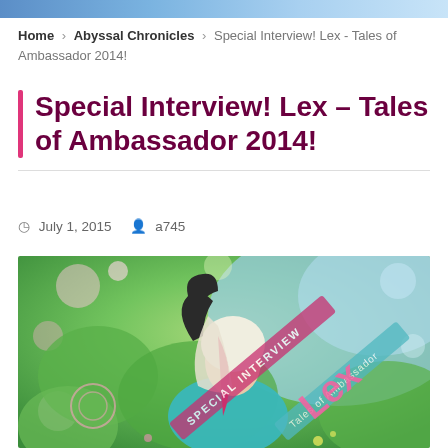Home > Abyssal Chronicles > Special Interview! Lex - Tales of Ambassador 2014!
Special Interview! Lex – Tales of Ambassador 2014!
July 1, 2015   a745
[Figure (photo): Cosplayer dressed as Lex from Tales of Ambassador, wearing a pink/red wig with white portion, teal outfit, black glove, shielding eyes. Colorful illustrated background with flowers and butterflies. Text overlays read 'SPECIAL INTERVIEW', 'Lex', 'Tales of Ambassador'.]